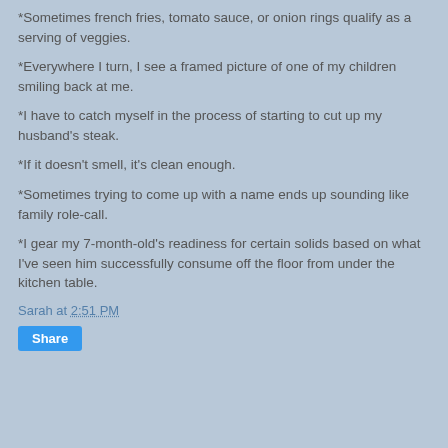*Sometimes french fries, tomato sauce, or onion rings qualify as a serving of veggies.
*Everywhere I turn, I see a framed picture of one of my children smiling back at me.
*I have to catch myself in the process of starting to cut up my husband's steak.
*If it doesn't smell, it's clean enough.
*Sometimes trying to come up with a name ends up sounding like family role-call.
*I gear my 7-month-old's readiness for certain solids based on what I've seen him successfully consume off the floor from under the kitchen table.
Sarah at 2:51 PM
Share